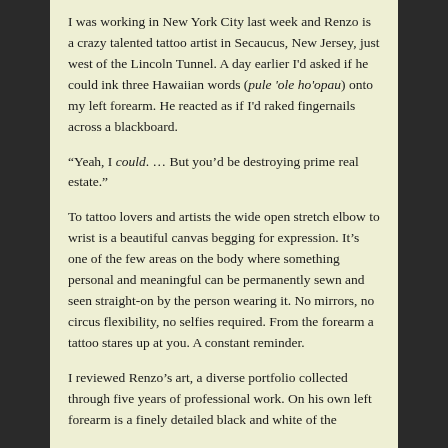I was working in New York City last week and Renzo is a crazy talented tattoo artist in Secaucus, New Jersey, just west of the Lincoln Tunnel. A day earlier I'd asked if he could ink three Hawaiian words (pule 'ole ho'opau) onto my left forearm. He reacted as if I'd raked fingernails across a blackboard.
“Yeah, I could. … But you’d be destroying prime real estate.”
To tattoo lovers and artists the wide open stretch elbow to wrist is a beautiful canvas begging for expression. It’s one of the few areas on the body where something personal and meaningful can be permanently sewn and seen straight-on by the person wearing it. No mirrors, no circus flexibility, no selfies required. From the forearm a tattoo stares up at you. A constant reminder.
I reviewed Renzo’s art, a diverse portfolio collected through five years of professional work. On his own left forearm is a finely detailed black and white of the